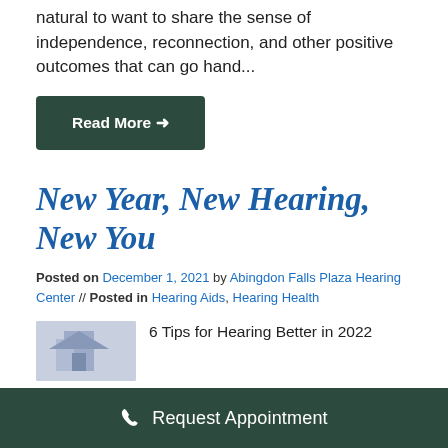natural to want to share the sense of independence, reconnection, and other positive outcomes that can go hand...
Read More →
New Year, New Hearing, New You
Posted on December 1, 2021 by Abingdon Falls Plaza Hearing Center // Posted in Hearing Aids, Hearing Health
6 Tips for Hearing Better in 2022
Request Appointment